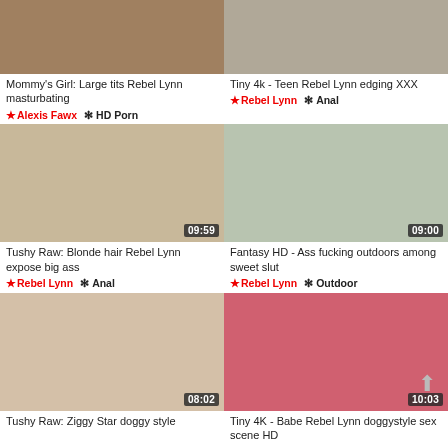[Figure (screenshot): Thumbnail for Mommy's Girl: Large tits Rebel Lynn masturbating]
Mommy's Girl: Large tits Rebel Lynn masturbating
★ Alexis Fawx  ✻ HD Porn
[Figure (screenshot): Thumbnail for Tiny 4k - Teen Rebel Lynn edging XXX]
Tiny 4k - Teen Rebel Lynn edging XXX
★ Rebel Lynn  ✻ Anal
[Figure (screenshot): Thumbnail for Tushy Raw: Blonde hair Rebel Lynn expose big ass, duration 09:59]
Tushy Raw: Blonde hair Rebel Lynn expose big ass
★ Rebel Lynn  ✻ Anal
[Figure (screenshot): Thumbnail for Fantasy HD - Ass fucking outdoors among sweet slut, duration 09:00]
Fantasy HD - Ass fucking outdoors among sweet slut
★ Rebel Lynn  ✻ Outdoor
[Figure (screenshot): Thumbnail for Tushy Raw: Ziggy Star doggy style, duration 08:02]
Tushy Raw: Ziggy Star doggy style
[Figure (screenshot): Thumbnail for Tiny 4K - Babe Rebel Lynn doggystyle sex scene HD, duration 10:03]
Tiny 4K - Babe Rebel Lynn doggystyle sex scene HD